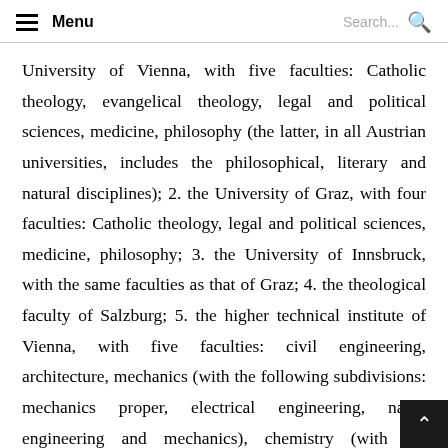Menu | Search...
University of Vienna, with five faculties: Catholic theology, evangelical theology, legal and political sciences, medicine, philosophy (the latter, in all Austrian universities, includes the philosophical, literary and natural disciplines); 2. the University of Graz, with four faculties: Catholic theology, legal and political sciences, medicine, philosophy; 3. the University of Innsbruck, with the same faculties as that of Graz; 4. the theological faculty of Salzburg; 5. the higher technical institute of Vienna, with five faculties: civil engineering, architecture, mechanics (with the following subdivisions: mechanics proper, electrical engineering, naval engineering and mechanics), chemistry (with the following subdivisions: technical physics, topography and a course of insurance assessors); 6. the higher technical institute of